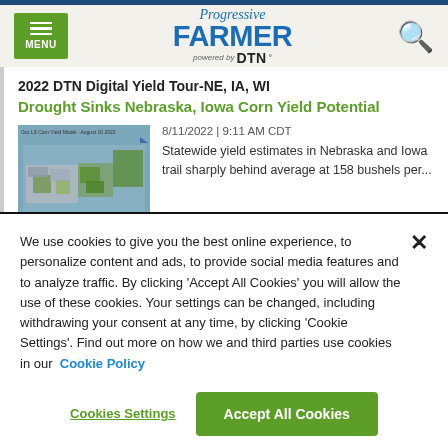Progressive Farmer powered by DTN
2022 DTN Digital Yield Tour-NE, IA, WI
Drought Sinks Nebraska, Iowa Corn Yield Potential
8/11/2022 | 9:11 AM CDT
Statewide yield estimates in Nebraska and Iowa trail sharply behind average at 158 bushels per...
[Figure (map): Gro LS Corn Yield Model - August 10 2022, map showing corn yield estimates across US states in shades of green and grey]
We use cookies to give you the best online experience, to personalize content and ads, to provide social media features and to analyze traffic. By clicking 'Accept All Cookies' you will allow the use of these cookies. Your settings can be changed, including withdrawing your consent at any time, by clicking 'Cookie Settings'. Find out more on how we and third parties use cookies in our Cookie Policy